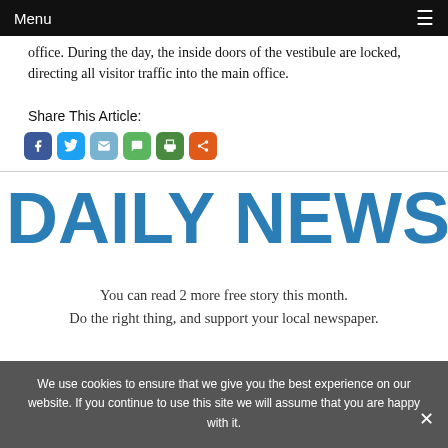Menu ☰
office. During the day, the inside doors of the vestibule are locked, directing all visitor traffic into the main office.
Share This Article:
[Figure (other): Social share icons: Facebook, Twitter, Email, Message, Print, More]
[Figure (logo): DAILY NEWS logo in large bold blue text]
You can read 2 more free story this month. Do the right thing, and support your local newspaper.
We use cookies to ensure that we give you the best experience on our website. If you continue to use this site we will assume that you are happy with it.